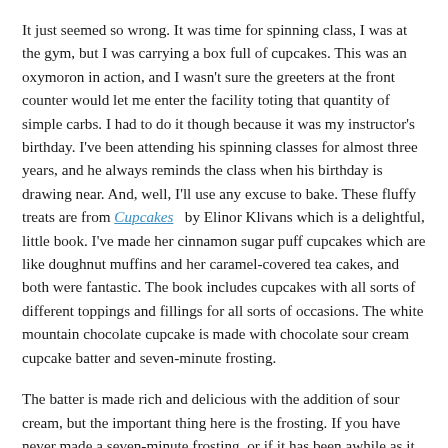It just seemed so wrong. It was time for spinning class, I was at the gym, but I was carrying a box full of cupcakes. This was an oxymoron in action, and I wasn't sure the greeters at the front counter would let me enter the facility toting that quantity of simple carbs. I had to do it though because it was my instructor's birthday. I've been attending his spinning classes for almost three years, and he always reminds the class when his birthday is drawing near. And, well, I'll use any excuse to bake. These fluffy treats are from Cupcakes by Elinor Klivans which is a delightful, little book. I've made her cinnamon sugar puff cupcakes which are like doughnut muffins and her caramel-covered tea cakes, and both were fantastic. The book includes cupcakes with all sorts of different toppings and fillings for all sorts of occasions. The white mountain chocolate cupcake is made with chocolate sour cream cupcake batter and seven-minute frosting.
The batter is made rich and delicious with the addition of sour cream, but the important thing here is the frosting. If you have never made a seven-minute frosting, or if it has been awhile as it had been for me, go now to start separating some egg whites. I don't know how I let so much time pass since I'd last made this kind of frosting, but it is a simply wonderful thing. Egg whites are beaten in a bowl with water, sugar, and cream of tartar. The bowl is set over a pot of barely simmering water, and you continue to beat for seven minutes. A